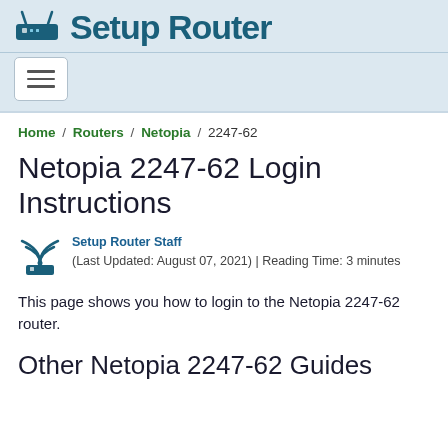Setup Router
Home / Routers / Netopia / 2247-62
Netopia 2247-62 Login Instructions
Setup Router Staff
(Last Updated: August 07, 2021) | Reading Time: 3 minutes
This page shows you how to login to the Netopia 2247-62 router.
Other Netopia 2247-62 Guides